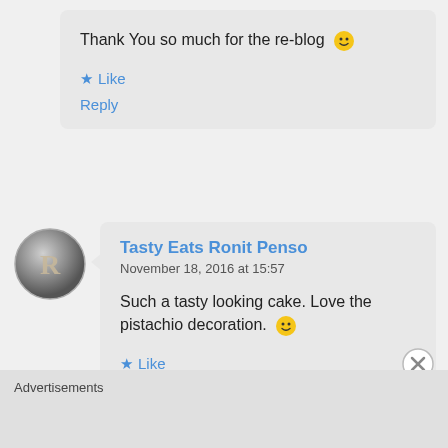Thank You so much for the re-blog 🙂
Like
Reply
[Figure (illustration): Round avatar with letter R, metallic gray appearance]
Tasty Eats Ronit Penso
November 18, 2016 at 15:57
Such a tasty looking cake. Love the pistachio decoration. 🙂
Like
Advertisements